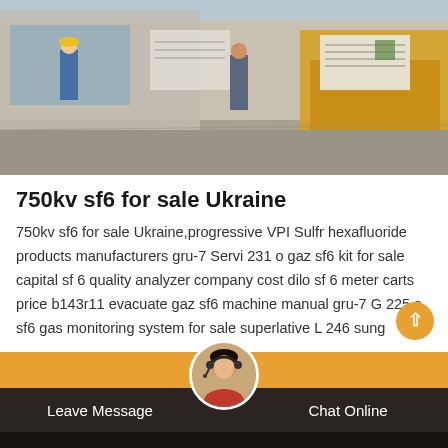[Figure (photo): Construction site photo showing workers, equipment, a yellow truck/crane, and posted signs/documents in an outdoor setting]
750kv sf6 for sale Ukraine
750kv sf6 for sale Ukraine,progressive VPI Sulfr hexafluoride products manufacturers gru-7 Servi 231 o gaz sf6 kit for sale capital sf 6 quality analyzer company cost dilo sf 6 meter carts price b143r11 evacuate gaz sf6 machine manual gru-7 G 225 s sf6 gas monitoring system for sale superlative L 246 sung